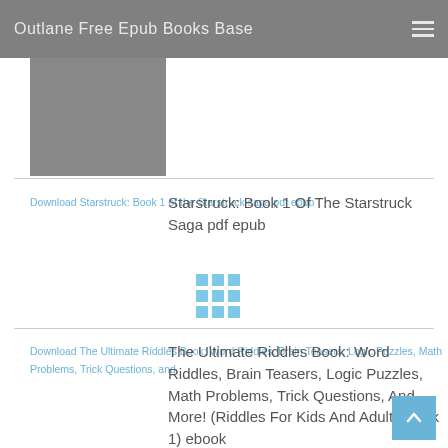Outlane Free Epub Books Base
[Figure (other): Book cover placeholder (gray rectangle, partially visible at top)]
Download Starstruck: Book 1 of the Starstruck saga pdf epub
Starstruck: Book 1 Of The Starstruck Saga pdf epub
[Figure (other): 3x3 grid of blue squares icon]
Download The Ultimate Riddles Book: Word Riddles, Brain Teasers, Logic Puzzles, Math Problems, Trick Questions, and
The Ultimate Riddles Book: Word Riddles, Brain Teasers, Logic Puzzles, Math Problems, Trick Questions, And More! (Riddles For Kids And Adults Book 1) ebook